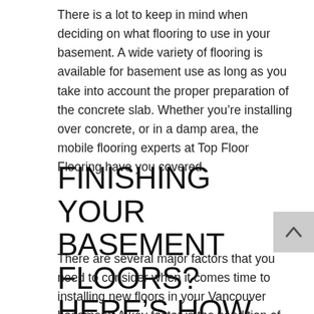There is a lot to keep in mind when deciding on what flooring to use in your basement. A wide variety of flooring is available for basement use as long as you take into account the proper preparation of the concrete slab. Whether you’re installing over concrete, or in a damp area, the mobile flooring experts at Top Floor Flooring have you covered.
FINISHING YOUR BASEMENT FLOORS? HERE’S HOW TO START
There are several major factors that you need to consider when it comes time to installing new floors in your Vancouver basement. A key factor is the condition of the basement floor. Is it a dry...